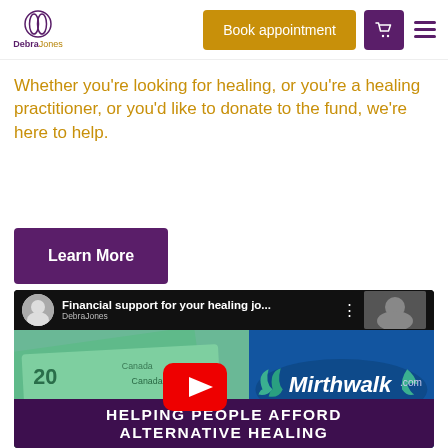Debra Jones — Book appointment
Whether you're looking for healing, or you're a healing practitioner, or you'd like to donate to the fund, we're here to help.
Learn More
[Figure (screenshot): YouTube video thumbnail for 'Financial support for your healing jo...' by DebraJones, showing Canadian $20 bills on left and Mirthwalk.com logo on right, with a YouTube play button overlay. Bottom bar reads 'HELPING PEOPLE AFFORD ALTERNATIVE HEALING'.]